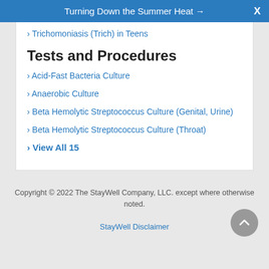Turning Down the Summer Heat →  X
Trichomoniasis (Trich) in Teens
Tests and Procedures
Acid-Fast Bacteria Culture
Anaerobic Culture
Beta Hemolytic Streptococcus Culture (Genital, Urine)
Beta Hemolytic Streptococcus Culture (Throat)
View All 15
Copyright © 2022 The StayWell Company, LLC. except where otherwise noted.
StayWell Disclaimer